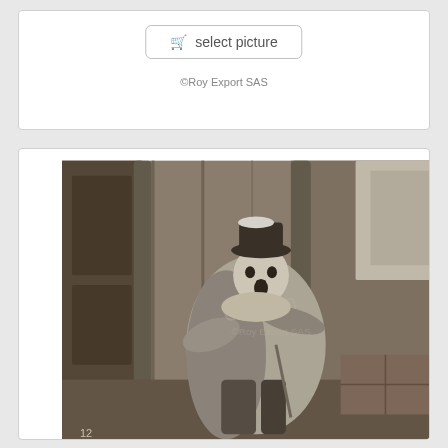[Figure (other): Select picture button with shopping cart icon inside a rounded rectangle card]
©Roy Export SAS
[Figure (photo): Black and white photograph of Charlie Chaplin in costume as the Tramp, seated and looking surprised, against a wooden building background. Watermark text visible in center. Number 12 visible at bottom left.]